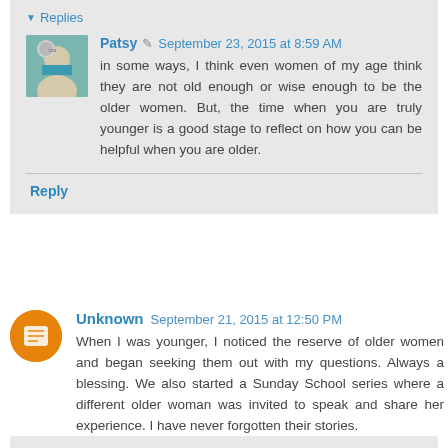▼ Replies
Patsy ✎ September 23, 2015 at 8:59 AM
in some ways, I think even women of my age think they are not old enough or wise enough to be the older women. But, the time when you are truly younger is a good stage to reflect on how you can be helpful when you are older.
Reply
Unknown September 21, 2015 at 12:50 PM
When I was younger, I noticed the reserve of older women and began seeking them out with my questions. Always a blessing. We also started a Sunday School series where a different older woman was invited to speak and share her experience. I have never forgotten their stories.
Reply